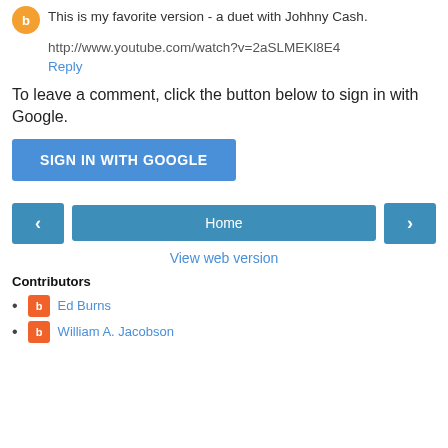This is my favorite version - a duet with Johhny Cash.
http://www.youtube.com/watch?v=2aSLMEKl8E4
Reply
To leave a comment, click the button below to sign in with Google.
[Figure (other): SIGN IN WITH GOOGLE button]
[Figure (other): Navigation buttons: left arrow, Home, right arrow]
View web version
Contributors
Ed Burns
William A. Jacobson